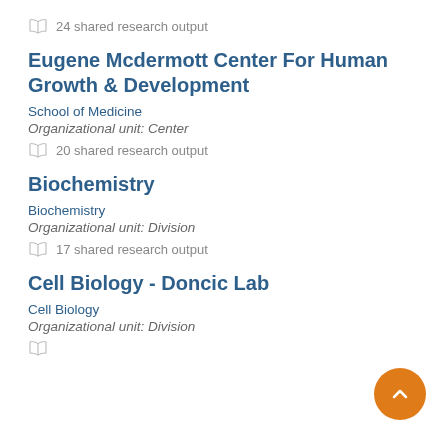24 shared research output
Eugene Mcdermott Center For Human Growth & Development
School of Medicine
Organizational unit: Center
20 shared research output
Biochemistry
Biochemistry
Organizational unit: Division
17 shared research output
Cell Biology - Doncic Lab
Cell Biology
Organizational unit: Division